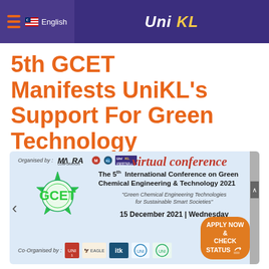Uni KL  |  English
5th GCET Manifests UniKL's Support For Green Technology
[Figure (screenshot): GCET 2021 virtual conference banner showing organisers (MARA, UniKL), GCET logo, conference title 'The 5th International Conference on Green Chemical Engineering & Technology 2021', subtitle 'Green Chemical Engineering Technologies for Sustainable Smart Societies', date '15 December 2021 | Wednesday', co-organiser logos, and an 'APPLY NOW & CHECK STATUS' button.]